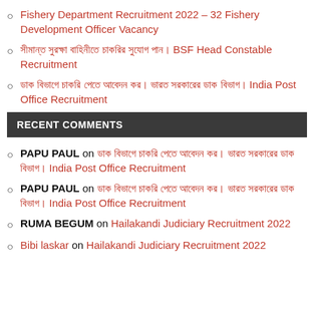Fishery Department Recruitment 2022 – 32 Fishery Development Officer Vacancy
[Hindi text] BSF Head Constable Recruitment
[Hindi text] India Post Office Recruitment
RECENT COMMENTS
PAPU PAUL on [Hindi text] India Post Office Recruitment
PAPU PAUL on [Hindi text] India Post Office Recruitment
RUMA BEGUM on Hailakandi Judiciary Recruitment 2022
Bibi laskar on Hailakandi Judiciary Recruitment 2022